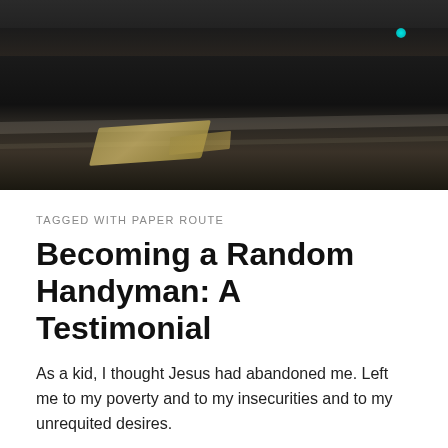[Figure (photo): Dark nighttime road or wet pavement photograph with a yellowish piece of paper/newspaper lying on the road, dark landscape horizon, and a small teal lens flare dot in the upper right.]
TAGGED WITH PAPER ROUTE
Becoming a Random Handyman: A Testimonial
As a kid, I thought Jesus had abandoned me. Left me to my poverty and to my insecurities and to my unrequited desires.
We were less than "Christmas, Easter" Christians; the faith